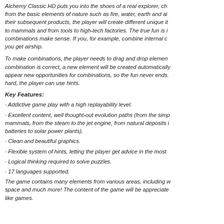Alchemy Classic HD puts you into the shoes of a real explorer, ch... from the basic elements of nature such as fire, water, earth and ai... their subsequent products, the player will create different unique it... to mammals and from tools to high-tech factories. The true fun is i... combinations make sense. If you, for example, combine internal c... you get airship.
To make combinations, the player needs to drag and drop elemen... combination is correct, a new element will be created automatically... appear new opportunities for combinations, so the fun never ends.... hard, the player can use hints.
Key Features:
· Addictive game play with a high replayability level.
· Excellent content, well thought-out evolution paths (from the simp... mammals, from the steam to the jet engine, from natural deposits ... batteries to solar power plants).
· Clean and beautiful graphics.
· Flexible system of hints, letting the player get advice in the most ...
· Logical thinking required to solve puzzles.
· 17 languages supported.
The game contains many elements from various areas, including w... space and much more! The content of the game will be appreciate... like games.